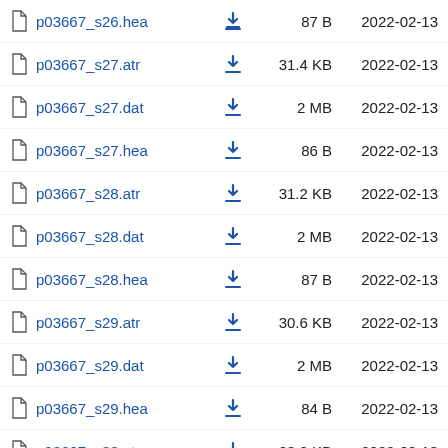| File |  | Size | Date |
| --- | --- | --- | --- |
| p03667_s26.hea | ↓ | 87 B | 2022-02-13 |
| p03667_s27.atr | ↓ | 31.4 KB | 2022-02-13 |
| p03667_s27.dat | ↓ | 2 MB | 2022-02-13 |
| p03667_s27.hea | ↓ | 86 B | 2022-02-13 |
| p03667_s28.atr | ↓ | 31.2 KB | 2022-02-13 |
| p03667_s28.dat | ↓ | 2 MB | 2022-02-13 |
| p03667_s28.hea | ↓ | 87 B | 2022-02-13 |
| p03667_s29.atr | ↓ | 30.6 KB | 2022-02-13 |
| p03667_s29.dat | ↓ | 2 MB | 2022-02-13 |
| p03667_s29.hea | ↓ | 84 B | 2022-02-13 |
| p03667_s30.atr | ↓ | 28.0 KB | 2022-02-13 |
| p03667_s30.dat | ↓ | 2 MB | 2022-02-13 |
| p03667_s30.hea | ↓ | 87 B | 2022-02-13 |
| p03667_s31.atr | ↓ | 37.7 KB | 2022-02-13 |